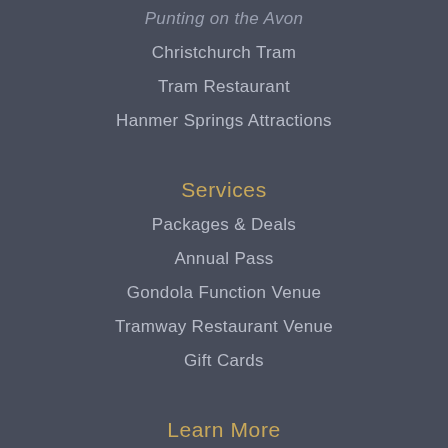Punting on the Avon
Christchurch Tram
Tram Restaurant
Hanmer Springs Attractions
Services
Packages & Deals
Annual Pass
Gondola Function Venue
Tramway Restaurant Venue
Gift Cards
Learn More